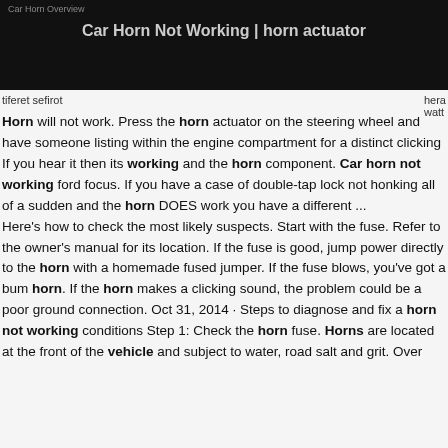Car Horn Overview - Car Horn Not Working | horn actuator
tiferet sefirot
hera
watt
Horn will not work. Press the horn actuator on the steering wheel and have someone listing within the engine compartment for a distinct clicking If you hear it then its working and the horn component. Car horn not working ford focus. If you have a case of double-tap lock not honking all of a sudden and the horn DOES work you have a different ...
Here's how to check the most likely suspects. Start with the fuse. Refer to the owner's manual for its location. If the fuse is good, jump power directly to the horn with a homemade fused jumper. If the fuse blows, you've got a bum horn. If the horn makes a clicking sound, the problem could be a poor ground connection. Oct 31, 2014 · Steps to diagnose and fix a horn not working conditions Step 1: Check the horn fuse. Horns are located at the front of the vehicle and subject to water, road salt and grit. Over